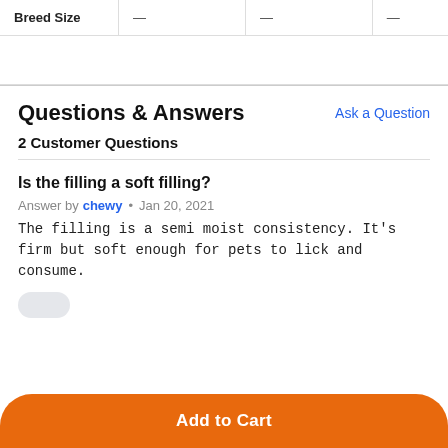|  | Adult | Adult | — |
| --- | --- | --- | --- |
| Breed Size | — | — | — |
Questions & Answers
Ask a Question
2 Customer Questions
Is the filling a soft filling?
Answer by chewy • Jan 20, 2021
The filling is a semi moist consistency. It's firm but soft enough for pets to lick and consume.
Add to Cart